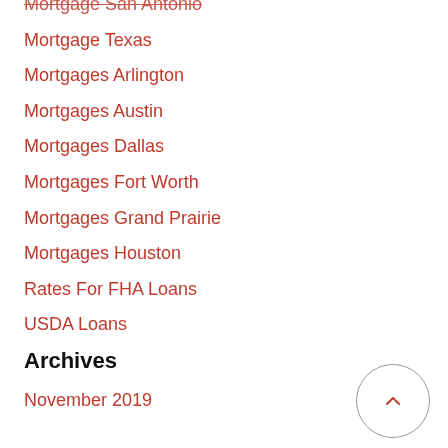Mortgage San Antonio
Mortgage Texas
Mortgages Arlington
Mortgages Austin
Mortgages Dallas
Mortgages Fort Worth
Mortgages Grand Prairie
Mortgages Houston
Rates For FHA Loans
USDA Loans
Archives
November 2019